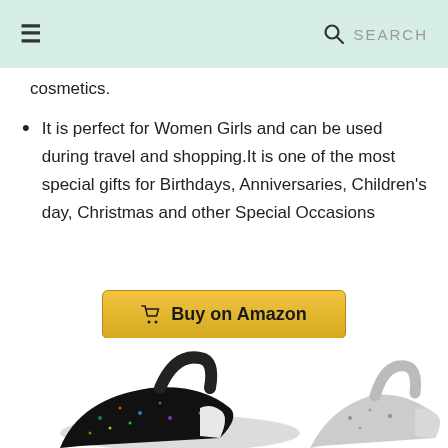≡  🔍 SEARCH
cosmetics.
It is perfect for Women Girls and can be used during travel and shopping.It is one of the most special gifts for Birthdays, Anniversaries, Children's day, Christmas and other Special Occasions
Buy on Amazon
9. WOG2008 Women Laser Bling Gasoline
[Figure (photo): Product photo of sparkly black women's shoes/bags with glitter detail]